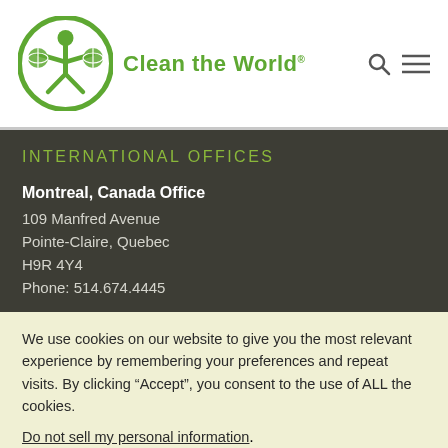[Figure (logo): Clean the World logo: green circular emblem with person and globes, brand name 'Clean the World' in green text]
INTERNATIONAL OFFICES
Montreal, Canada Office
109 Manfred Avenue
Pointe-Claire, Quebec
H9R 4Y4
Phone: 514.674.4445
We use cookies on our website to give you the most relevant experience by remembering your preferences and repeat visits. By clicking “Accept”, you consent to the use of ALL the cookies. Do not sell my personal information.